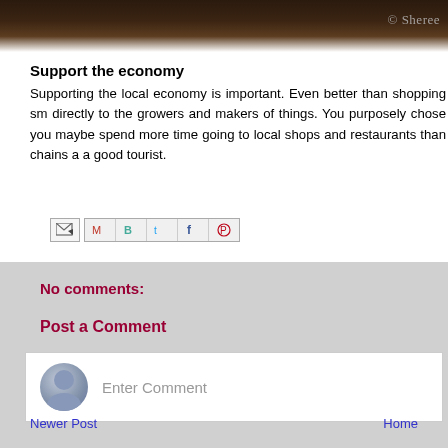[Figure (photo): Partial image at top of page with dark brown tones and a watermark reading '© Sheree']
Support the economy
Supporting the local economy is important. Even better than shopping sm... directly to the growers and makers of things. You purposely chose you... maybe spend more time going to local shops and restaurants than chains a... a good tourist.
[Figure (infographic): Social share bar with email icon and social media icons: Gmail, Blogger, Twitter, Facebook, Pinterest]
No comments:
Post a Comment
[Figure (screenshot): Comment input area with a user avatar placeholder and 'Enter Comment' placeholder text]
Newer Post
Home